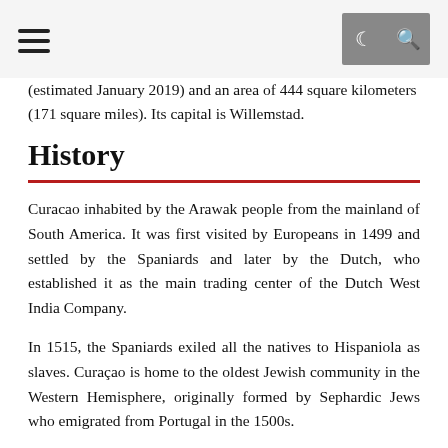≡ ☾ 🔍
(estimated January 2019) and an area of 444 square kilometers (171 square miles). Its capital is Willemstad.
History
Curacao inhabited by the Arawak people from the mainland of South America. It was first visited by Europeans in 1499 and settled by the Spaniards and later by the Dutch, who established it as the main trading center of the Dutch West India Company.
In 1515, the Spaniards exiled all the natives to Hispaniola as slaves. Curaçao is home to the oldest Jewish community in the Western Hemisphere, originally formed by Sephardic Jews who emigrated from Portugal in the 1500s.
The island provided a special advantage for the Dutch – one of the best natural harbors in the West Indies. At the